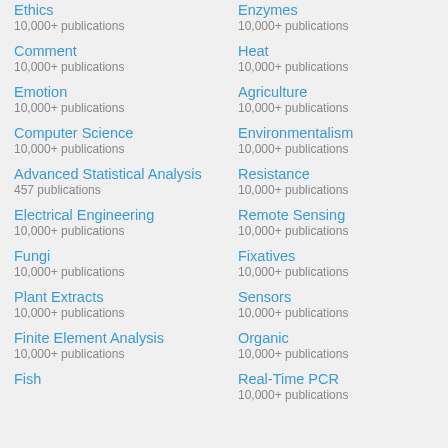Ethics
10,000+ publications
Comment
10,000+ publications
Emotion
10,000+ publications
Computer Science
10,000+ publications
Advanced Statistical Analysis
457 publications
Electrical Engineering
10,000+ publications
Fungi
10,000+ publications
Plant Extracts
10,000+ publications
Finite Element Analysis
10,000+ publications
Fish
Enzymes
10,000+ publications
Heat
10,000+ publications
Agriculture
10,000+ publications
Environmentalism
10,000+ publications
Resistance
10,000+ publications
Remote Sensing
10,000+ publications
Fixatives
10,000+ publications
Sensors
10,000+ publications
Organic
10,000+ publications
Real-Time PCR
10,000+ publications